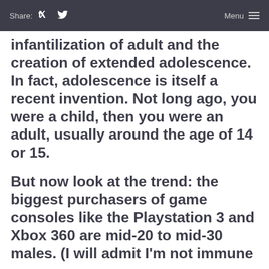Share: f [twitter] Menu ≡
infantilization of adult and the creation of extended adolescence. In fact, adolescence is itself a recent invention. Not long ago, you were a child, then you were an adult, usually around the age of 14 or 15.
But now look at the trend: the biggest purchasers of game consoles like the Playstation 3 and Xbox 360 are mid-20 to mid-30 males. (I will admit I'm not immune